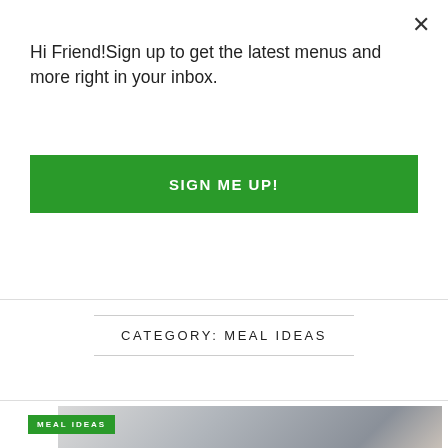Hi Friend!Sign up to get the latest menus and more right in your inbox.
SIGN ME UP!
CATEGORY: MEAL IDEAS
[Figure (photo): Father and young child at a dining table, with a green MEAL IDEAS badge overlay in the bottom-left]
MEAL IDEAS